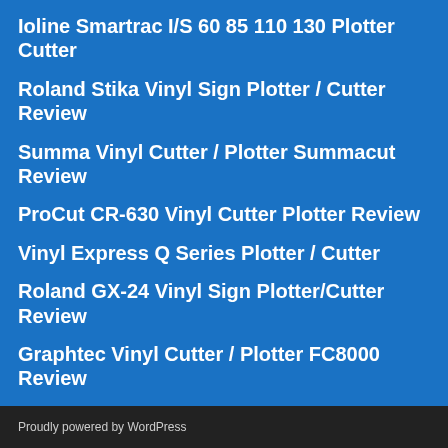Ioline Smartrac I/S 60 85 110 130 Plotter Cutter
Roland Stika Vinyl Sign Plotter / Cutter Review
Summa Vinyl Cutter / Plotter Summacut Review
ProCut CR-630 Vinyl Cutter Plotter Review
Vinyl Express Q Series Plotter / Cutter
Roland GX-24 Vinyl Sign Plotter/Cutter Review
Graphtec Vinyl Cutter / Plotter FC8000 Review
Proudly powered by WordPress